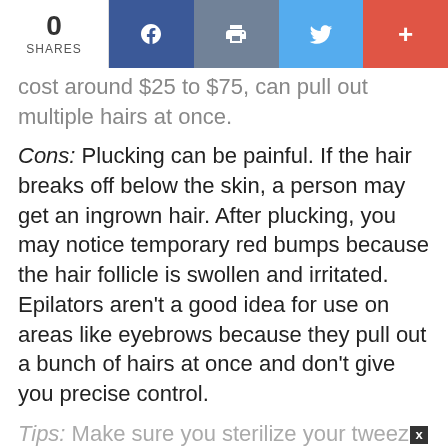0 SHARES | f | print | twitter | +
cost around $25 to $75, can pull out multiple hairs at once.
Cons: Plucking can be painful. If the hair breaks off below the skin, a person may get an ingrown hair. After plucking, you may notice temporary red bumps because the hair follicle is swollen and irritated. Epilators aren't a good idea for use on areas like eyebrows because they pull out a bunch of hairs at once and don't give you precise control.
Tips: Make sure you sterilize your tweezers or other plucking devices with rubbing alcohol before and after use to reduce the chance of infection.